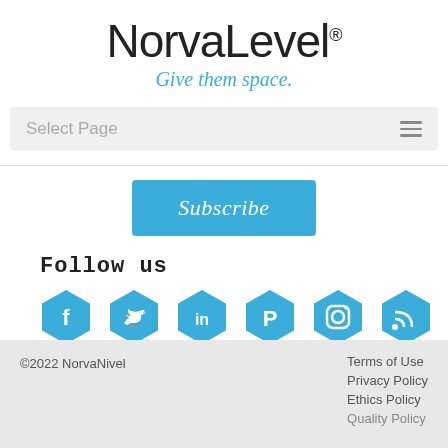[Figure (logo): NorvaNivel logo with tagline 'Give them space.']
Select Page
[Figure (other): Subscribe button]
Follow us
[Figure (other): Social media icons: Facebook, Twitter, LinkedIn, Pinterest, Instagram, RSS]
©2022 NorvaNivel   Terms of Use   Privacy Policy   Ethics Policy   Quality Policy